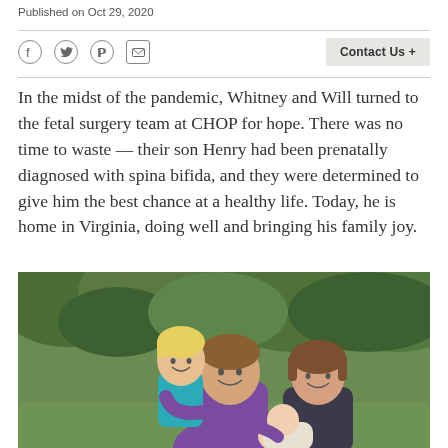Published on Oct 29, 2020
In the midst of the pandemic, Whitney and Will turned to the fetal surgery team at CHOP for hope. There was no time to waste — their son Henry had been prenatally diagnosed with spina bifida, and they were determined to give him the best chance at a healthy life. Today, he is home in Virginia, doing well and bringing his family joy.
[Figure (photo): Family photo outdoors with green foliage background. A man in a purple polo shirt holds a young blonde toddler in a teal outfit. A woman stands beside him, and he also holds a newborn baby. Everyone is smiling.]